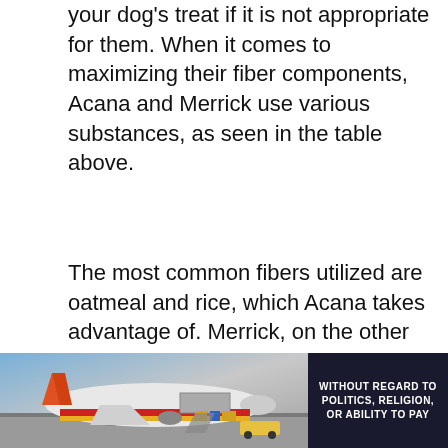your dog's treat if it is not appropriate for them. When it comes to maximizing their fiber components, Acana and Merrick use various substances, as seen in the table above.
The most common fibers utilized are oatmeal and rice, which Acana takes advantage of. Merrick, on the other hand, comprises fiber-rich barley, brown rice, and whole rice. Acana wins by 6% fiber per serving in dry food, while Merrick only gets 4 percent. On the other hand, the wet food has the same amount of fiber as dry food, which is 8%. However, note that these fibers sometimes don't suit all dogs. Be sure to know what possible negative reactions your dog might
[Figure (photo): Advertisement banner showing a cargo airplane being loaded, with colorful livery. On the right side, dark background with white text reading 'WITHOUT REGARD TO POLITICS, RELIGION, OR ABILITY TO PAY'.]